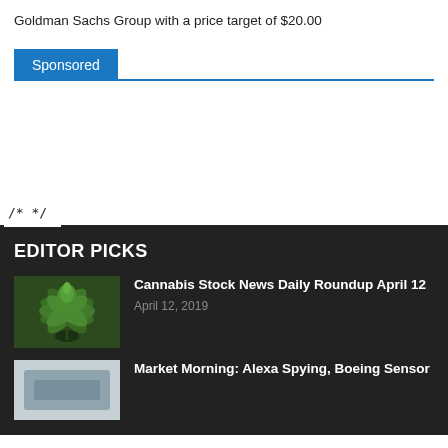Goldman Sachs Group with a price target of $20.00
Sponsored
/* */
EDITOR PICKS
[Figure (photo): Close-up photo of a cannabis plant with green leaves]
Cannabis Stock News Daily Roundup April 12
April 12, 2019
[Figure (photo): Thumbnail image for Market Morning article, partially visible]
Market Morning: Alexa Spying, Boeing Sensor...